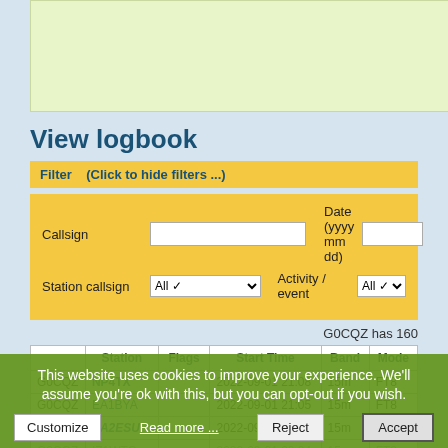[Figure (screenshot): Light green advertisement/banner box at top of page]
View logbook
Filter   (Click to hide filters ...)
|  | Station | Flags | Start Time | Band | Mode |
| --- | --- | --- | --- | --- | --- |
| G0CQZ | NP4TX |  | 2022-09-01 21:08 | 15m | FT8 |
| G0CQZ | EA1BYA |  | 2022-09-01 21:05 | 15m | FT8 |
| G0CQZ | EA2ESU |  | 2022-09-01 20:31 | 15m | FT8 |
| G0CQZ | IZ1WTO |  | 2022-09-01 20:24 | 15m | FT8 |
| G0CQZ | NB0WA |  | 2022-09-01 19:44 | 15m | FT8 |
| G0CQZ | 5W0SD |  | 2022-09-01 19:39 | 15m | FT8 |
| G0CQZ | SP1DPA |  | 2022-09-01 04:07 | 60m | FT8 |
This website uses cookies to improve your experience. We'll assume you're ok with this, but you can opt-out if you wish.